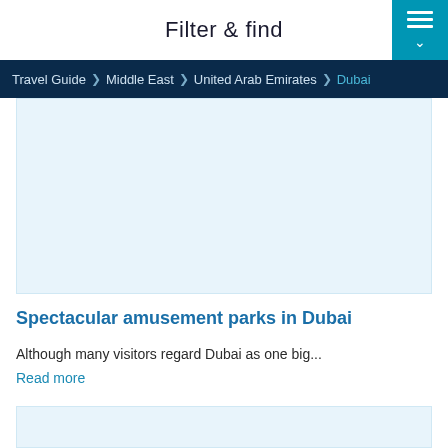Filter & find
Travel Guide > Middle East > United Arab Emirates > Dubai
[Figure (photo): Light blue placeholder image area for Dubai amusement parks article]
Spectacular amusement parks in Dubai
Although many visitors regard Dubai as one big...
Read more
[Figure (photo): Light blue placeholder image area for second article]